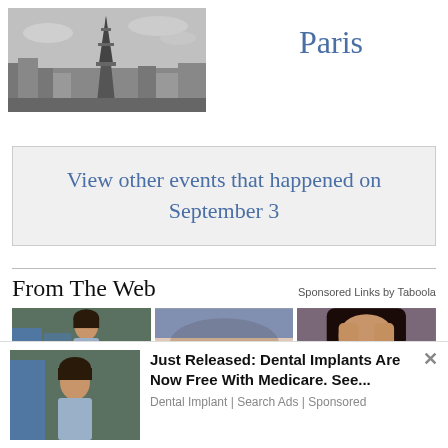[Figure (photo): Black and white aerial photo of Paris with Eiffel Tower in center]
Paris
View other events that happened on September 3
From The Web
Sponsored Links by Taboola
[Figure (photo): Three advertisement photos: woman smiling outdoors, close-up of skin/arm, woman with hands over face]
Just Released: Dental Implants Are Now Free With Medicare. See...
Dental Implant | Search Ads | Sponsored